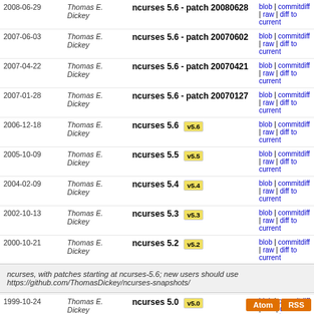| Date | Author | Subject | Links |
| --- | --- | --- | --- |
| 2008-06-29 | Thomas E. Dickey | ncurses 5.6 - patch 20080628 | blob | commitdiff | raw | diff to current |
| 2007-06-03 | Thomas E. Dickey | ncurses 5.6 - patch 20070602 | blob | commitdiff | raw | diff to current |
| 2007-04-22 | Thomas E. Dickey | ncurses 5.6 - patch 20070421 | blob | commitdiff | raw | diff to current |
| 2007-01-28 | Thomas E. Dickey | ncurses 5.6 - patch 20070127 | blob | commitdiff | raw | diff to current |
| 2006-12-18 | Thomas E. Dickey | ncurses 5.6 [v5.6] | blob | commitdiff | raw | diff to current |
| 2005-10-09 | Thomas E. Dickey | ncurses 5.5 [v5.5] | blob | commitdiff | raw | diff to current |
| 2004-02-09 | Thomas E. Dickey | ncurses 5.4 [v5.4] | blob | commitdiff | raw | diff to current |
| 2002-10-13 | Thomas E. Dickey | ncurses 5.3 [v5.3] | blob | commitdiff | raw | diff to current |
| 2000-10-21 | Thomas E. Dickey | ncurses 5.2 [v5.2] | blob | commitdiff | raw | diff to current |
| 2000-07-09 | Thomas E. Dickey | ncurses 5.1 [v5.1] | blob | commitdiff | raw | diff to current |
| 1999-10-24 | Thomas E. Dickey | ncurses 5.0 [v5.0] | blob | commitdiff | raw | diff to current |
ncurses, with patches starting at ncurses-5.6; new users should use https://github.com/ThomasDickey/ncurses-snapshots/
Atom RSS